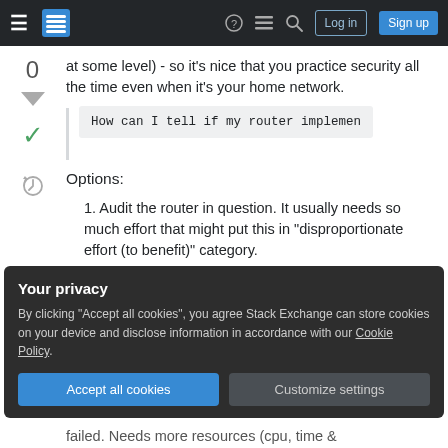Stack Exchange navigation bar with Log in and Sign up buttons
at some level) - so it's nice that you practice security all the time even when it's your home network.
How can I tell if my router implemen
Options:
1. Audit the router in question. It usually needs so much effort that might put this in "disproportionate effort (to benefit)" category.
Your privacy
By clicking "Accept all cookies", you agree Stack Exchange can store cookies on your device and disclose information in accordance with our Cookie Policy.
Accept all cookies  Customize settings
failed. Needs more resources (cpu, time &